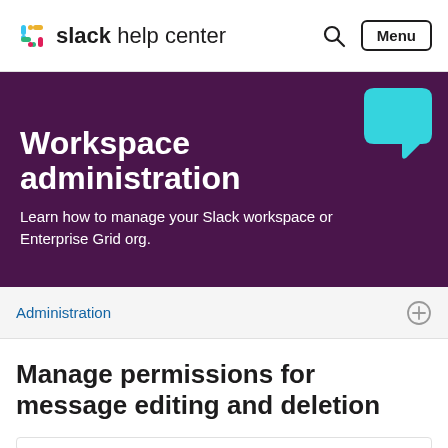slack help center
[Figure (illustration): Slack Help Center hero banner with purple background, cyan speech bubble icon, title 'Workspace administration' and subtitle 'Learn how to manage your Slack workspace or Enterprise Grid org.']
Administration
Manage permissions for message editing and deletion